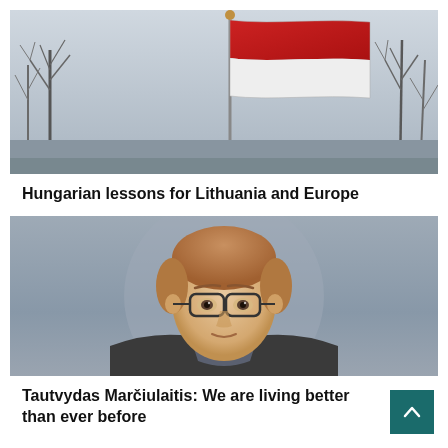[Figure (photo): A red and white Hungarian flag on a flagpole against a winter sky with bare trees in the background]
Hungarian lessons for Lithuania and Europe
[Figure (photo): Portrait of a young man with glasses and light brown hair against a blurred grey outdoor background]
Tautvydas Marčiulaitis: We are living better than ever before